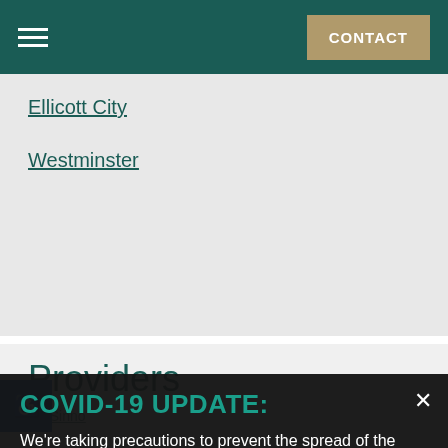CONTACT
Ellicott City
Westminster
Providers
Dr. Sinno
COVID-19 UPDATE:
We're taking precautions to prevent the spread of the coronavirus.
REQUEST YOUR VIRTUAL CONSULTATION